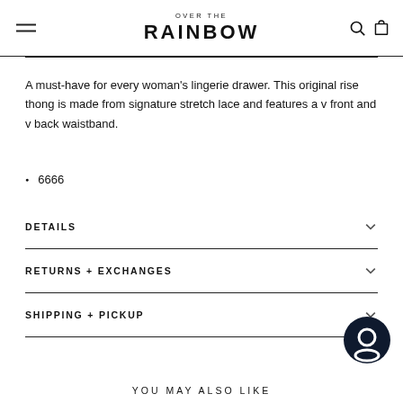OVER THE RAINBOW
A must-have for every woman's lingerie drawer. This original rise thong is made from signature stretch lace and features a v front and v back waistband.
6666
DETAILS
RETURNS + EXCHANGES
SHIPPING + PICKUP
YOU MAY ALSO LIKE